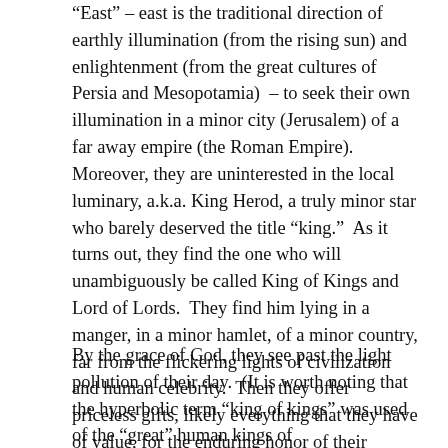“East” – east is the traditional direction of earthly illumination (from the rising sun) and enlightenment (from the great cultures of Persia and Mesopotamia)  – to seek their own illumination in a minor city (Jerusalem) of a far away empire (the Roman Empire).  Moreover, they are uninterested in the local luminary, a.k.a. King Herod, a truly minor star who barely deserved the title “king.”  As it turns out, they find the one who will unambiguously be called King of Kings and Lord of Lords.  They find him lying in a manger, in a minor hamlet, of a minor country, far from the flickering lights of civilization and human celebrity.  Then they offer priceless gifts, likely everything that they have of value, for the enduring honor of their presence in his life.
By the grace of God, they see past the light pollution of their day.  (It is worth noting that the hyperbolic term “king of kings” was used of the “great” human kings of the east in Babylon and Persia and later became a title